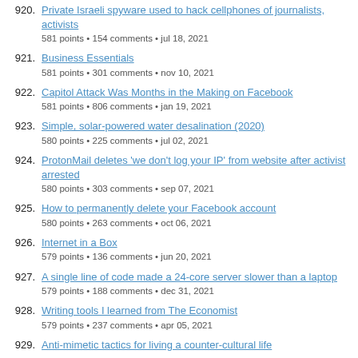920. Private Israeli spyware used to hack cellphones of journalists, activists
581 points • 154 comments • jul 18, 2021
921. Business Essentials
581 points • 301 comments • nov 10, 2021
922. Capitol Attack Was Months in the Making on Facebook
581 points • 806 comments • jan 19, 2021
923. Simple, solar-powered water desalination (2020)
580 points • 225 comments • jul 02, 2021
924. ProtonMail deletes 'we don't log your IP' from website after activist arrested
580 points • 303 comments • sep 07, 2021
925. How to permanently delete your Facebook account
580 points • 263 comments • oct 06, 2021
926. Internet in a Box
579 points • 136 comments • jun 20, 2021
927. A single line of code made a 24-core server slower than a laptop
579 points • 188 comments • dec 31, 2021
928. Writing tools I learned from The Economist
579 points • 237 comments • apr 05, 2021
929. Anti-mimetic tactics for living a counter-cultural life